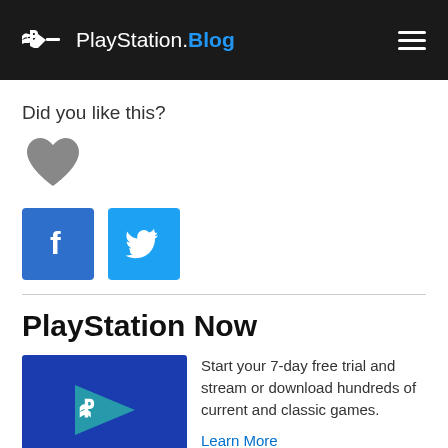PlayStation.Blog
Did you like this?
[Figure (illustration): Gray heart icon]
[Figure (illustration): Facebook and Twitter share buttons]
PlayStation Now
[Figure (logo): PlayStation Now logo — blue background with teal play button triangle and PlayStation logo]
Start your 7-day free trial and stream or download hundreds of current and classic games.
Learn More